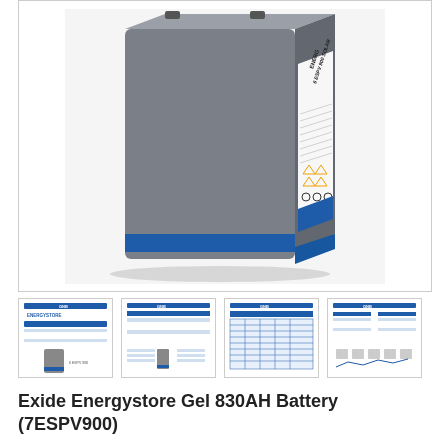[Figure (photo): Large product photo of an Exide Energystore Gel 830AH Battery (7ESPV900) - a tall rectangular grey battery with a white and blue label on the side showing text and safety symbols]
[Figure (photo): Thumbnail 1: Product overview sheet with GAE/GNB logo, ENERGYSTORE branding, blue table and small battery image]
[Figure (photo): Thumbnail 2: Technical datasheet page with blue header tables and battery diagram at bottom]
[Figure (photo): Thumbnail 3: Technical datasheet page with blue header and blue gridded data table]
[Figure (photo): Thumbnail 4: Datasheet page with specifications table and small icons/diagrams at bottom]
Exide Energystore Gel 830AH Battery (7ESPV900)